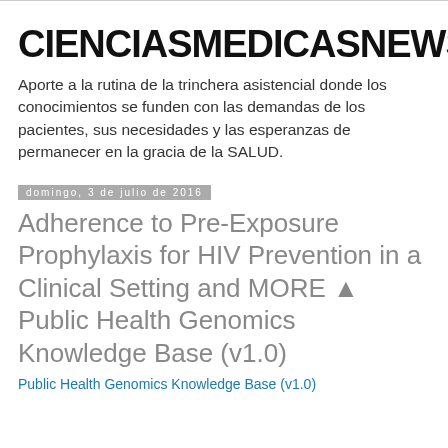CIENCIASMEDICASNEWS
Aporte a la rutina de la trinchera asistencial donde los conocimientos se funden con las demandas de los pacientes, sus necesidades y las esperanzas de permanecer en la gracia de la SALUD.
domingo, 3 de julio de 2016
Adherence to Pre-Exposure Prophylaxis for HIV Prevention in a Clinical Setting and MORE ▲ Public Health Genomics Knowledge Base (v1.0)
Public Health Genomics Knowledge Base (v1.0)